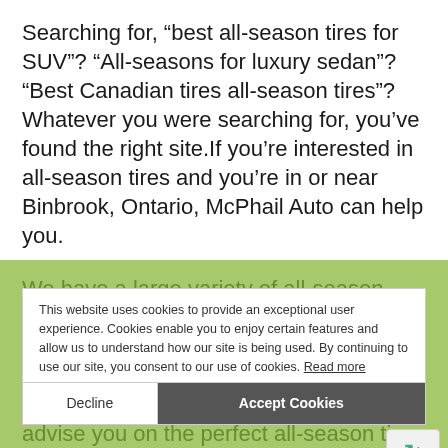Searching for, “best all-season tires for SUV”? “All-seasons for luxury sedan”? “Best Canadian tires all-season tires”? Whatever you were searching for, you’ve found the right site.If you’re interested in all-season tires and you’re in or near Binbrook, Ontario, McPhail Auto can help you.
We have a large variety of all-season tires available from the most popular tire brands from all over the world. Whether you want the best tires for performance, fuel economy, or durability, we can advise you on the perfect all-season tire for your vehicle and driving style.
This website uses cookies to provide an exceptional user experience. Cookies enable you to enjoy certain features and allow us to understand how our site is being used. By continuing to use our site, you consent to our use of cookies. Read more